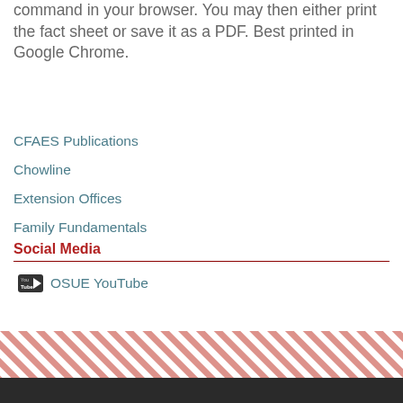command in your browser. You may then either print the fact sheet or save it as a PDF. Best printed in Google Chrome.
CFAES Publications
Chowline
Extension Offices
Family Fundamentals
Social Media
OSUE YouTube